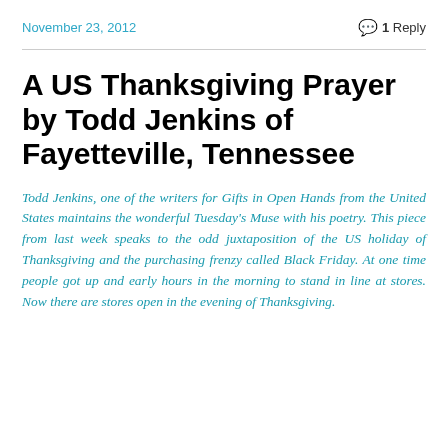November 23, 2012   1 Reply
A US Thanksgiving Prayer by Todd Jenkins of Fayetteville, Tennessee
Todd Jenkins, one of the writers for Gifts in Open Hands from the United States maintains the wonderful Tuesday's Muse with his poetry. This piece from last week speaks to the odd juxtaposition of the US holiday of Thanksgiving and the purchasing frenzy called Black Friday. At one time people got up and early hours in the morning to stand in line at stores. Now there are stores open in the evening of Thanksgiving.